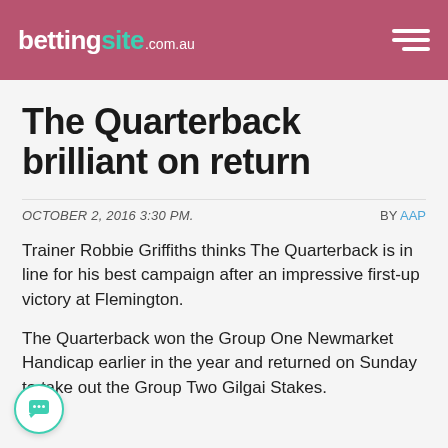bettingsite.com.au
The Quarterback brilliant on return
OCTOBER 2, 2016 3:30 PM. BY AAP
Trainer Robbie Griffiths thinks The Quarterback is in line for his best campaign after an impressive first-up victory at Flemington.
The Quarterback won the Group One Newmarket Handicap earlier in the year and returned on Sunday to take out the Group Two Gilgai Stakes.